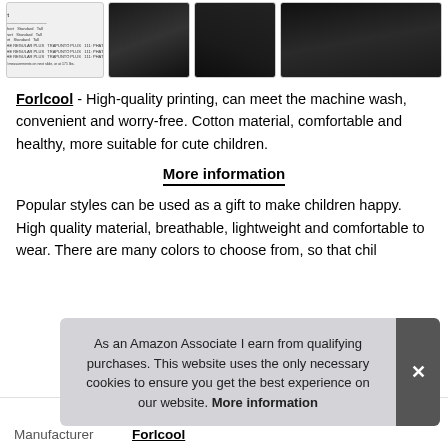[Figure (photo): Strip of four product images: a size chart table thumbnail, and three close-up photos of black fabric clothing items]
Forlcool - High-quality printing, can meet the machine wash, convenient and worry-free. Cotton material, comfortable and healthy, more suitable for cute children.
More information
Popular styles can be used as a gift to make children happy. High quality material, breathable, lightweight and comfortable to wear. There are many colors to choose from, so that chil
As an Amazon Associate I earn from qualifying purchases. This website uses the only necessary cookies to ensure you get the best experience on our website. More information
|  |  |
| --- | --- |
| Manufacturer | Forlcool |